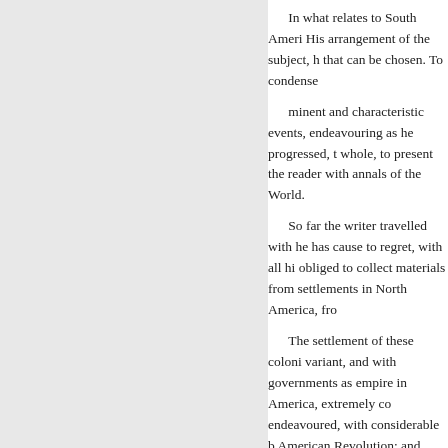In what relates to South Ameri... His arrangement of the subject, h... that can be chosen. To condense minent and characteristic events, endeavouring as he progressed, t whole, to present the reader with annals of the World.
So far the writer travelled with he has cause to regret, with all hi obliged to collect materials from settlements in North America, fro
The settlement of these coloni variant, and with governments as empire in America, extremely co endeavoured, with considerable b American Revolution; and which STATES.
In that portion of the work wh declaration of Independence, we memory; and of which there are
« Sebelumnya